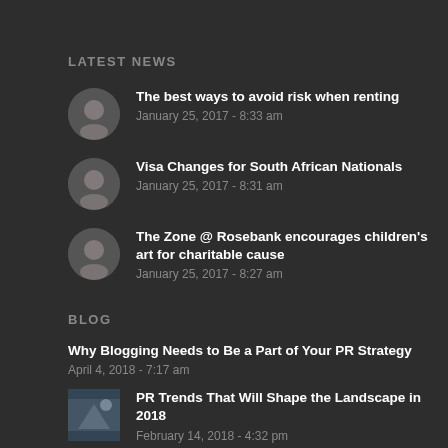LATEST NEWS
The best ways to avoid risk when renting
January 25, 2017 - 8:33 am
Visa Changes for South African Nationals
January 25, 2017 - 8:31 am
The Zone @ Rosebank encourages children's art for charitable cause
January 25, 2017 - 8:27 am
BLOG
Why Blogging Needs to Be a Part of Your PR Strategy
April 4, 2018 - 7:17 am
PR Trends That Will Shape the Landscape in 2018
February 14, 2018 - 4:32 pm